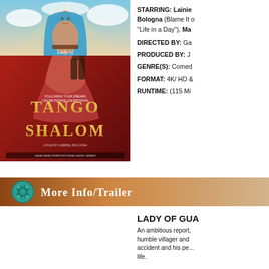[Figure (photo): Tango Shalom movie poster with two dancers on red background]
STARRING: Lainie Bologna (Blame It on... "Life in a Day"), Ma...
DIRECTED BY: Ga...
PRODUCED BY: J...
GENRE(S): Comed...
FORMAT: 4K/ HD &...
RUNTIME: (115 Mi...
[Figure (infographic): More Info/Trailer banner with film reel icon, brown to tan gradient background]
[Figure (photo): Lady of Guadalupe movie poster with woman in blue veil with clouds]
LADY OF GUA...
An ambitious report, humble villager and accident and his pe... life.